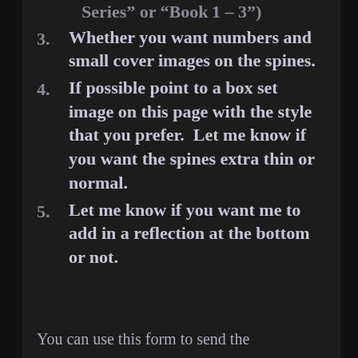Series” or “Book 1 – 3”)
3. Whether you want numbers and small cover images on the spines.
4. If possible point to a box set image on this page with the style that you prefer.  Let me know if you want the spines extra thin or normal.
5. Let me know if you want me to add in a reflection at the bottom or not.
You can use this form to send the